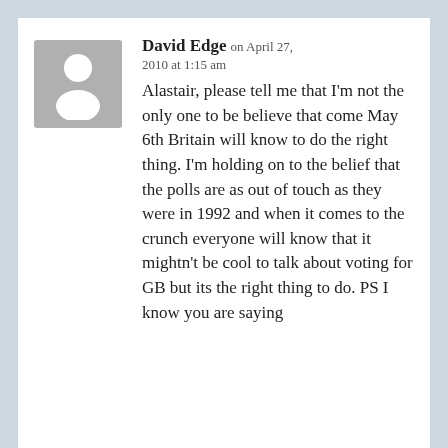[Figure (illustration): Generic user avatar placeholder: grey square with white silhouette of person (head circle and shoulders)]
David Edge on April 27, 2010 at 1:15 am
Alastair, please tell me that I'm not the only one to be believe that come May 6th Britain will know to do the right thing. I'm holding on to the belief that the polls are as out of touch as they were in 1992 and when it comes to the crunch everyone will know that it mightn't be cool to talk about voting for GB but its the right thing to do. PS I know you are saying...